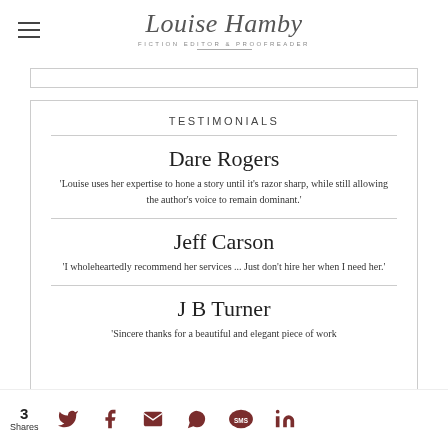Louise Hamby — Fiction Editor & Proofreader
TESTIMONIALS
Dare Rogers
'Louise uses her expertise to hone a story until it's razor sharp, while still allowing the author's voice to remain dominant.'
Jeff Carson
'I wholeheartedly recommend her services ... Just don't hire her when I need her.'
J B Turner
'Sincere thanks for a beautiful and elegant piece of work
3 Shares